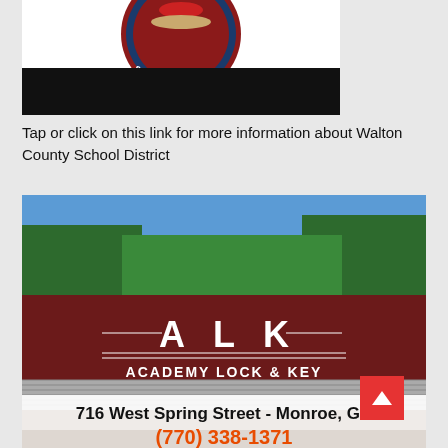[Figure (logo): Walton County School District circular logo (partially visible at top) with dark red and blue colors, showing 'SCHOOL DISTRICT' text, followed by a black bar below]
Tap or click on this link for more information about Walton County School District
[Figure (photo): Photo of Academy Lock & Key (ALK) storefront at 716 West Spring Street - Monroe, GA. Dark red metal building with white ALK logo and 'ACADEMY LOCK & KEY' text on sign. Address visible in black text. Phone number partially visible at bottom in orange: (770) 338-1371]